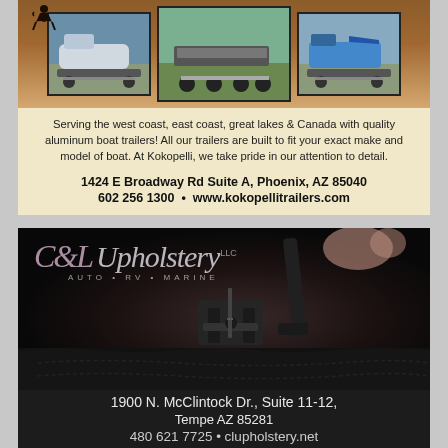[Figure (photo): Top advertisement for Kokopelli Trailers showing three boat trailer photos on a warm brown/tan background with Kokopelli icon]
Serving the west coast, east coast, great lakes & Canada with quality aluminum boat trailers! All our trailers are built to fit your exact make and model of boat. At Kokopelli, we take pride in our attention to detail.
1424 E Broadway Rd Suite A, Phoenix, AZ 85040
602 256 1300  •  www.kokopellitrailers.com
[Figure (photo): Bottom advertisement for C&L Upholstery LLC showing close-up of industrial sewing machine on dark leather/fabric with company logo overlay]
1900 N. McClintock Dr., Suite 11-12,
Tempe AZ 85281
480 621 7725 • clupholstery.net